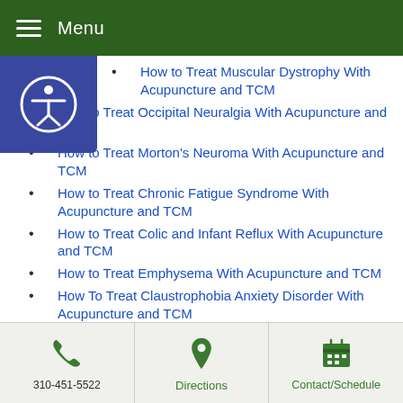Menu
How to Treat Muscular Dystrophy With Acupuncture and TCM
How to Treat Occipital Neuralgia With Acupuncture and TCM
How to Treat Morton's Neuroma With Acupuncture and TCM
How to Treat Chronic Fatigue Syndrome With Acupuncture and TCM
How to Treat Colic and Infant Reflux With Acupuncture and TCM
How to Treat Emphysema With Acupuncture and TCM
How To Treat Claustrophobia Anxiety Disorder With Acupuncture and TCM
310-451-5522  Directions  Contact/Schedule